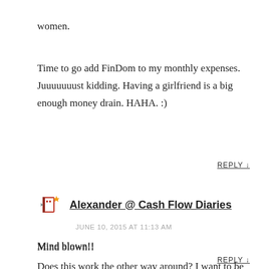women.
Time to go add FinDom to my monthly expenses. Juuuuuuust kidding. Having a girlfriend is a big enough money drain. HAHA. :)
REPLY ↓
Alexander @ Cash Flow Diaries
JUNE 10, 2015 AT 11:13 AM
Mind blown!!
Does this work the other way around? I want to be on the receiving end on this fetish!! I think! Im so confused right now.
REPLY ↓